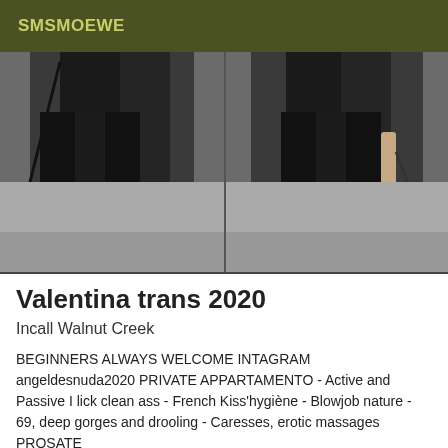SMSMOEWE
[Figure (photo): Two side-by-side photos of a person wearing black latex/PVC outfit and high heels, holding a whip, photographed from behind/side against a grey wall]
Valentina trans 2020
Incall Walnut Creek
BEGINNERS ALWAYS WELCOME INTAGRAM angeldesnuda2020 PRIVATE APPARTAMENTO - Active and Passive I lick clean ass - French Kiss'hygiène - Blowjob nature - 69, deep gorges and drooling - Caresses, erotic massages PROSATE